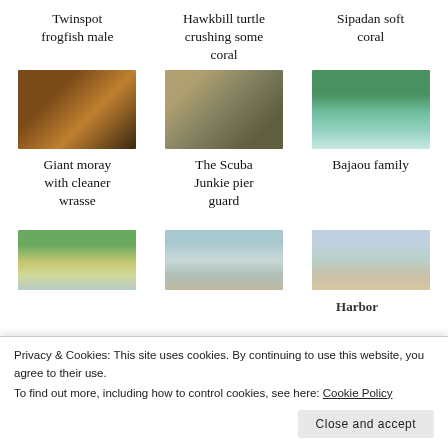Twinspot frogfish male
Hawkbill turtle crushing some coral
Sipadan soft coral
[Figure (photo): Twinspot frogfish male underwater photo with orange/brown tones]
[Figure (photo): Close-up photo of a cat face]
[Figure (photo): Boat on turquoise water with green trees in background]
Giant moray with cleaner wrasse
The Scuba Junkie pier guard
Bajaou family
[Figure (photo): Shore/beach with vegetation]
[Figure (photo): Wooden pier extending into water]
[Figure (photo): Stilt houses over water]
Privacy & Cookies: This site uses cookies. By continuing to use this website, you agree to their use.
To find out more, including how to control cookies, see here: Cookie Policy
Close and accept
Harbor